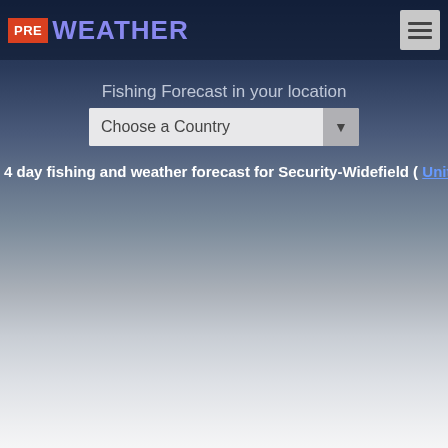PRE WEATHER
Fishing Forecast in your location
Choose a Country
4 day fishing and weather forecast for Security-Widefield ( Unite...